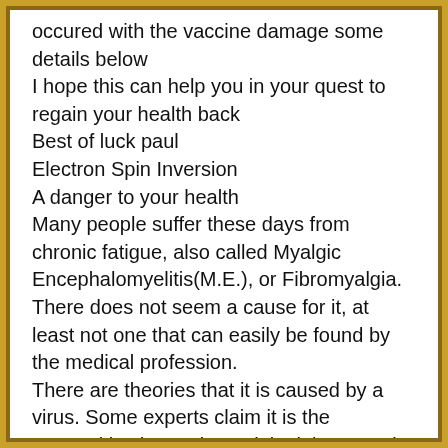occured with the vaccine damage some details below
I hope this can help you in your quest to regain your health back
Best of luck paul
Electron Spin Inversion
A danger to your health
Many people suffer these days from chronic fatigue, also called Myalgic Encephalomyelitis(M.E.), or Fibromyalgia. There does not seem a cause for it, at least not one that can easily be found by the medical profession.
There are theories that it is caused by a virus. Some experts claim it is the Coxsackie virus, others claim it is caused by the Epstein-Barr virus.
But they remain theories.
The two viruses can definitely cause a lot of problems to the immune ...